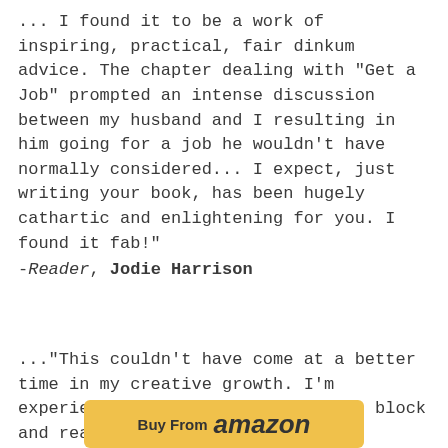... I found it to be a work of inspiring, practical, fair dinkum advice. The chapter dealing with "Get a Job" prompted an intense discussion between my husband and I resulting in him going for a job he wouldn't have normally considered... I expect, just writing your book, has been hugely cathartic and enlightening for you. I found it fab!"
-Reader, Jodie Harrison
..."This couldn't have come at a better time in my creative growth. I'm experiencing some serious writer's block and really appreciate the love and support you express in this message. Your generosity of spirit is truly appreciated."
-Reader, Lexie Col
[Figure (other): Yellow Amazon 'Buy From amazon' button at bottom of page]